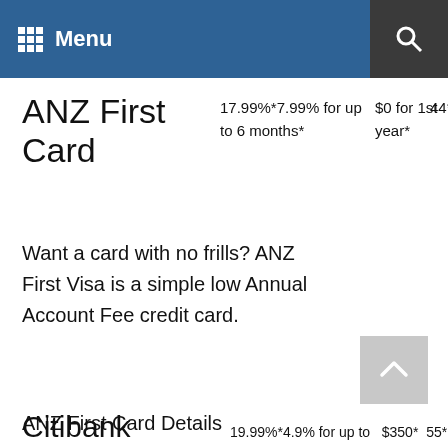Menu
ANZ First Card
17.99%*7.99% for up to 6 months*	$0 for 1st year*	44*
Want a card with no frills? ANZ First Visa is a simple low Annual Account Fee credit card.
ANZ First Card Details
Citibank